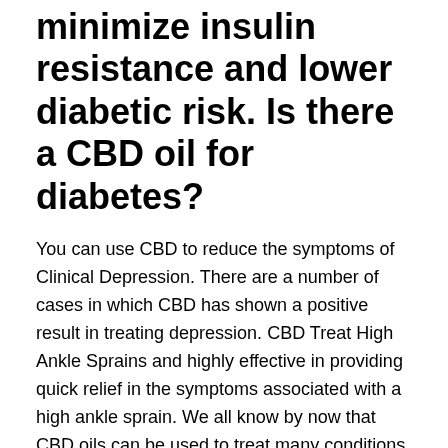minimize insulin resistance and lower diabetic risk. Is there a CBD oil for diabetes?
You can use CBD to reduce the symptoms of Clinical Depression. There are a number of cases in which CBD has shown a positive result in treating depression. CBD Treat High Ankle Sprains and highly effective in providing quick relief in the symptoms associated with a high ankle sprain. We all know by now that CBD oils can be used to treat many conditions. They have been helping people combat anxiety, depression, and different neurological conditions for years now. Nejnovější tweety od uživatele MX CBD (@cbd_mx). MX CBD is a UK based online supplier and distributors of full spectrum CBD oil. England, United Kingdom The multiple properties of medicinal CBD - treating Osteoarthritis and Arthritis diseases, as long as it is used in the correct doses and with quality products. Description These CBD Cat Treats